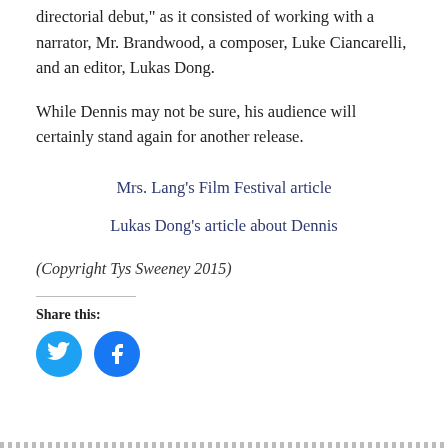directorial debut, as it consisted of working with a narrator, Mr. Brandwood, a composer, Luke Ciancarelli, and an editor, Lukas Dong.
While Dennis may not be sure, his audience will certainly stand again for another release.
Mrs. Lang's Film Festival article
Lukas Dong's article about Dennis
(Copyright Tys Sweeney 2015)
Share this:
[Figure (illustration): Twitter bird icon in a blue circle button]
[Figure (illustration): Facebook 'f' icon in a blue circle button]